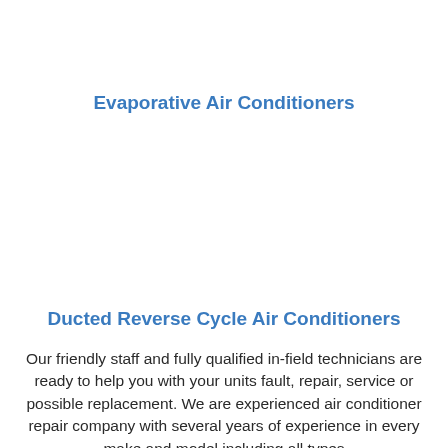Evaporative Air Conditioners
Ducted Reverse Cycle Air Conditioners
Our friendly staff and fully qualified in-field technicians are ready to help you with your units fault, repair, service or possible replacement. We are experienced air conditioner repair company with several years of experience in every make and model including all types